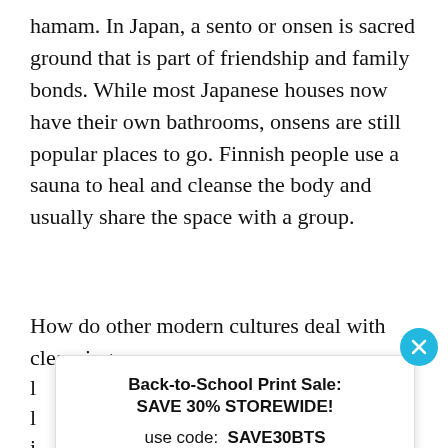hamam. In Japan, a sento or onsen is sacred ground that is part of friendship and family bonds. While most Japanese houses now have their own bathrooms, onsens are still popular places to go. Finnish people use a sauna to heal and cleanse the body and usually share the space with a group.
How do other modern cultures deal with cleansing
[Figure (other): Back-to-School Print Sale advertisement overlay with close button, showing 'SAVE 30% STOREWIDE!' promotion with code SAVE30BTS and a 'SAVE 30% NOW' button]